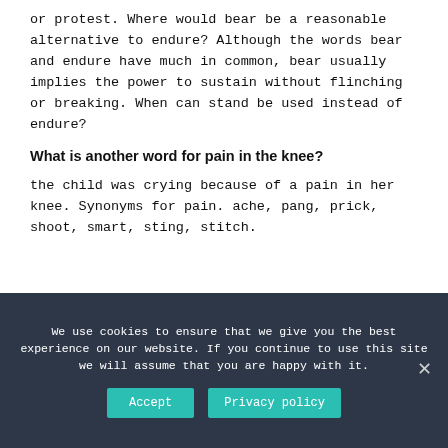or protest. Where would bear be a reasonable alternative to endure? Although the words bear and endure have much in common, bear usually implies the power to sustain without flinching or breaking. When can stand be used instead of endure?
What is another word for pain in the knee?
the child was crying because of a pain in her knee. Synonyms for pain. ache, pang, prick, shoot, smart, sting, stitch.
We use cookies to ensure that we give you the best experience on our website. If you continue to use this site we will assume that you are happy with it.